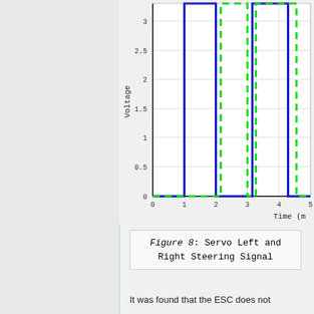[Figure (continuous-plot): Square wave plot showing two signals (blue solid and green dashed) representing Servo Left and Right Steering signals. Y-axis shows Voltage from 0 to 3+ (ticks: 0, 0.5, 1, 1.5, 2, 2.5, 3). X-axis shows Time from 0 to 5+ (ticks: 0,1,2,3,4,5). Blue line shows square wave pulses at high (~3.3V) from ~1 to ~2 and ~3.3 to ~4.3. Green dashed line shows similar pattern slightly offset.]
Figure 8: Servo Left and Right Steering Signal
It was found that the ESC does not